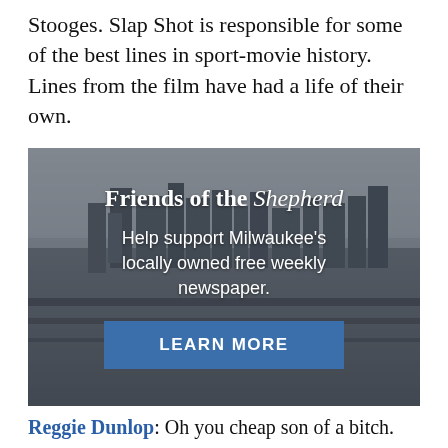Stooges. Slap Shot is responsible for some of the best lines in sport-movie history. Lines from the film have had a life of their own.
[Figure (illustration): Advertisement banner with aerial grayscale photo of Milwaukee city skyline. Text overlay reads 'Friends of the Shepherd' and 'Help support Milwaukee's locally owned free weekly newspaper.' with a blue 'LEARN MORE' button.]
Reggie Dunlop: Oh you cheap son of a bitch.